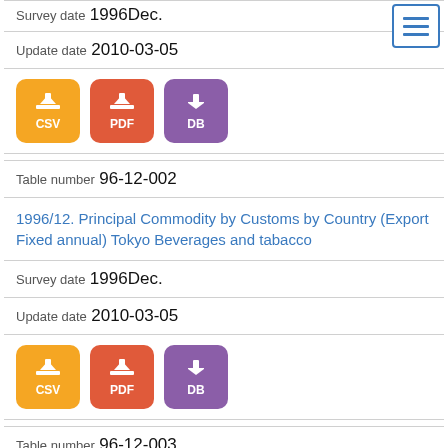Survey date  1996Dec.
Update date  2010-03-05
[Figure (other): Download buttons: CSV (orange), PDF (red-orange), DB (purple)]
Table number  96-12-002
1996/12. Principal Commodity by Customs by Country (Export Fixed annual) Tokyo Beverages and tabacco
Survey date  1996Dec.
Update date  2010-03-05
[Figure (other): Download buttons: CSV (orange), PDF (red-orange), DB (purple)]
Table number  96-12-003
1996/12. Principal Commodity by Customs by Country (Export